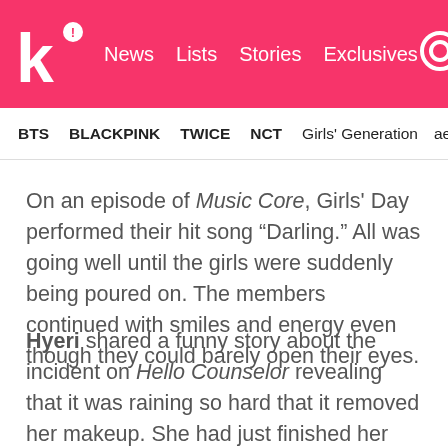k! News Lists Stories Exclusives
BTS BLACKPINK TWICE NCT Girls' Generation aespa
On an episode of Music Core, Girls' Day performed their hit song “Darling.” All was going well until the girls were suddenly being poured on. The members continued with smiles and energy even though they could barely open their eyes.
Hyeri shared a funny story about the incident on Hello Counselor revealing that it was raining so hard that it removed her makeup. She had just finished her time on the show Real Men where she had gotten tanner. The host of Hello Counselor said it was like her skin color